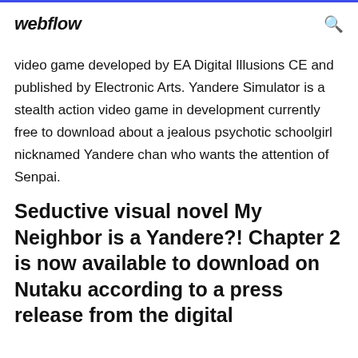webflow
video game developed by EA Digital Illusions CE and published by Electronic Arts. Yandere Simulator is a stealth action video game in development currently free to download about a jealous psychotic schoolgirl nicknamed Yandere chan who wants the attention of Senpai.
Seductive visual novel My Neighbor is a Yandere?! Chapter 2 is now available to download on Nutaku according to a press release from the digital